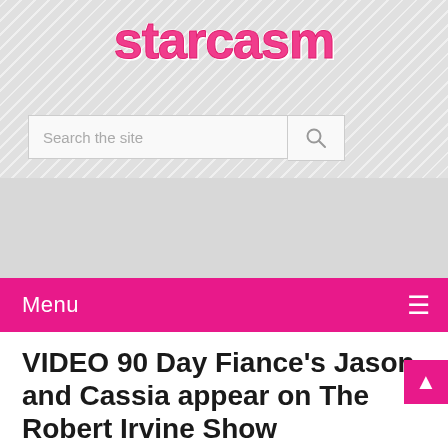starcasm
Search the site
VIDEO 90 Day Fiance’s Jason and Cassia appear on The Robert Irvine Show
Asa Hawks  May 22, 2017  90 Day Fiance, Cassia Tavarez, Jason Hitch, Robert Irvine